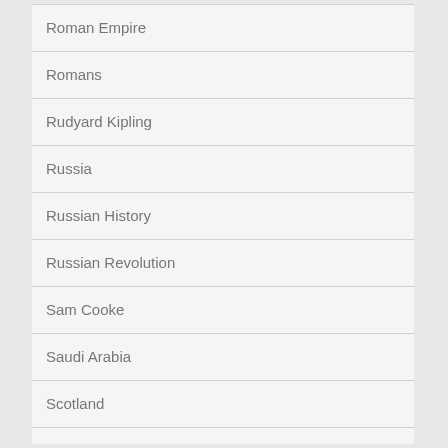Roman Empire
Romans
Rudyard Kipling
Russia
Russian History
Russian Revolution
Sam Cooke
Saudi Arabia
Scotland
Shoah